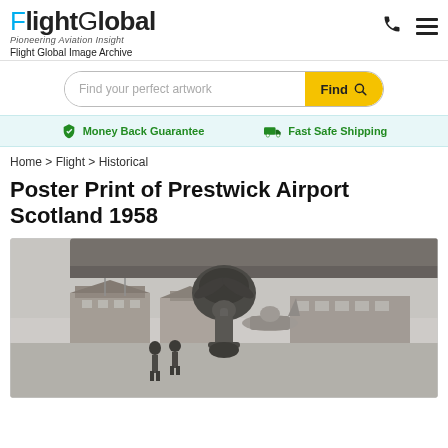FlightGlobal — Pioneering Aviation Insight — Flight Global Image Archive
Find your perfect artwork — Find
Money Back Guarantee   Fast Safe Shipping
Home > Flight > Historical
Poster Print of Prestwick Airport Scotland 1958
[Figure (photo): Black and white historical photograph of Prestwick Airport Scotland 1958, showing a propeller aircraft undercarriage and engine in the foreground with airport buildings, flagpoles, and personnel visible in the background.]